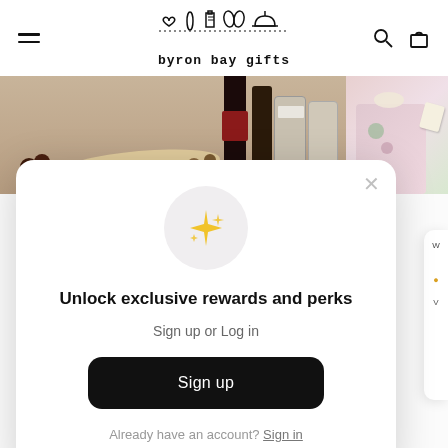[Figure (screenshot): Byron Bay Gifts website header with hamburger menu icon on left, Byron Bay Gifts logo in center (icons of heart, surfboard, lighthouse, flip flops, mortar and pestle above dotted line and text 'byron bay gifts'), and search and shopping bag icons on right]
[Figure (photo): Product image strip showing gourmet food hamper items including chocolates, crackers, wine bottle, sauces on left, and a floral wrapped gift on the right]
[Figure (screenshot): Loyalty/rewards popup modal with sparkle icon, heading 'Unlock exclusive rewards and perks', subtext 'Sign up or Log in', black Sign up button, and 'Already have an account? Sign in' link with close X button]